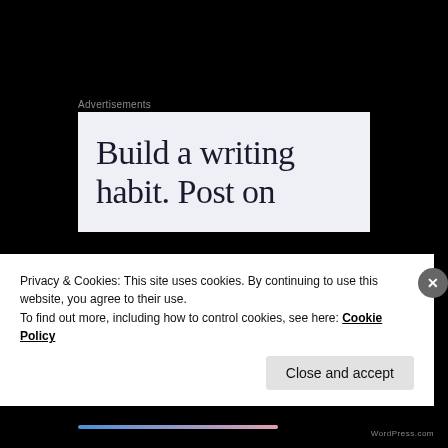Advertisements
[Figure (other): Advertisement banner with large serif text reading 'Build a writing habit. Post on']
ANTHONY FERNANDEZ
February 20, 2013 at 4:50 PM
Privacy & Cookies: This site uses cookies. By continuing to use this website, you agree to their use.
To find out more, including how to control cookies, see here: Cookie Policy
Close and accept